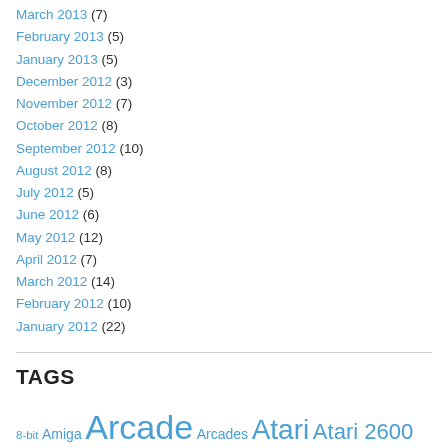March 2013 (7)
February 2013 (5)
January 2013 (5)
December 2012 (3)
November 2012 (7)
October 2012 (8)
September 2012 (10)
August 2012 (8)
July 2012 (5)
June 2012 (6)
May 2012 (12)
April 2012 (7)
March 2012 (14)
February 2012 (10)
January 2012 (22)
TAGS
8-bit Amiga Arcade Arcades Atari Atari 2600 C64 Castlevania